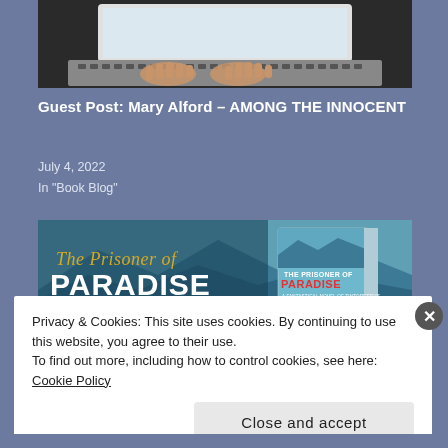[Figure (photo): Hands typing on a laptop keyboard, dark background, top portion of a blog page]
Guest Post: Mary Alford – AMONG THE INNOCENT
July 4, 2022
In "Book Blog"
[Figure (illustration): Book banner for 'The Prisoner of Paradise' by Rob Samborn, showing the title text in stylized fonts and a book cover image with mountain/landscape background]
Privacy & Cookies: This site uses cookies. By continuing to use this website, you agree to their use.
To find out more, including how to control cookies, see here: Cookie Policy